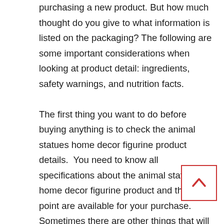purchasing a new product. But how much thought do you give to what information is listed on the packaging? The following are some important considerations when looking at product detail: ingredients, safety warnings, and nutrition facts.

The first thing you want to do before buying anything is to check the animal statues home decor figurine product details. You need to know all specifications about the animal statues home decor figurine product and the price point are available for your purchase. Sometimes there are other things that will make the decision easier like shipping restrictions or even return policies.

A checklist is also what you want to look at the